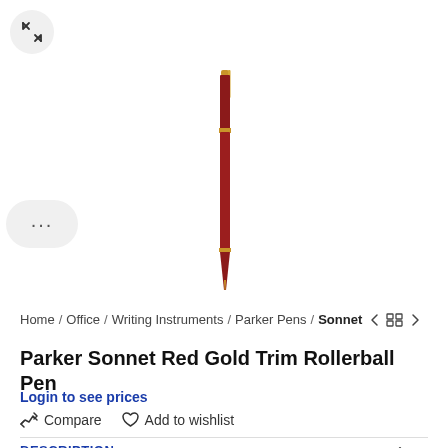[Figure (photo): Parker Sonnet Red Gold Trim Rollerball Pen product photo — a slim red pen with gold trim shown vertically]
Home / Office / Writing Instruments / Parker Pens / Sonnet
Parker Sonnet Red Gold Trim Rollerball Pen
Login to see prices
Compare   Add to wishlist
DESCRIPTION
Fine Nib